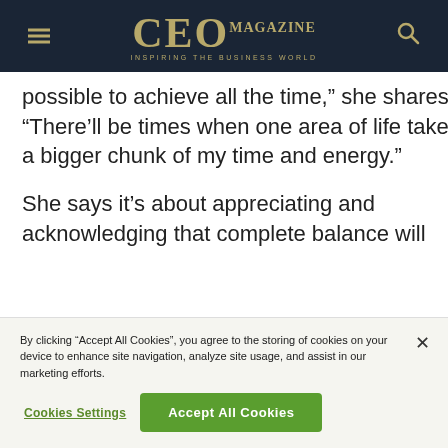CEO MAGAZINE — INSPIRING THE BUSINESS WORLD
possible to achieve all the time,” she shares. “There’ll be times when one area of life takes a bigger chunk of my time and energy.”
She says it’s about appreciating and acknowledging that complete balance will
By clicking “Accept All Cookies”, you agree to the storing of cookies on your device to enhance site navigation, analyze site usage, and assist in our marketing efforts.
Cookies Settings
Accept All Cookies